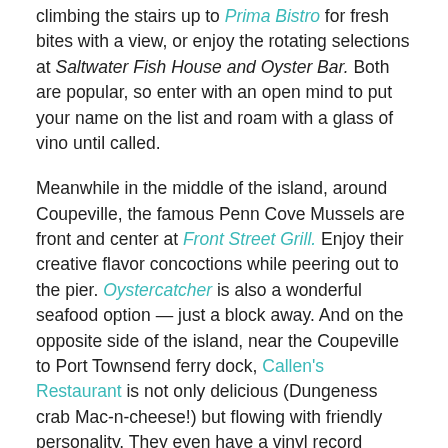climbing the stairs up to Prima Bistro for fresh bites with a view, or enjoy the rotating selections at Saltwater Fish House and Oyster Bar. Both are popular, so enter with an open mind to put your name on the list and roam with a glass of vino until called.
Meanwhile in the middle of the island, around Coupeville, the famous Penn Cove Mussels are front and center at Front Street Grill. Enjoy their creative flavor concoctions while peering out to the pier. Oystercatcher is also a wonderful seafood option — just a block away. And on the opposite side of the island, near the Coupeville to Port Townsend ferry dock, Callen's Restaurant is not only delicious (Dungeness crab Mac-n-cheese!) but flowing with friendly personality. They even have a vinyl record player blaring (in our case) ABBA.
Eating is definitely one of my favorite things to do in